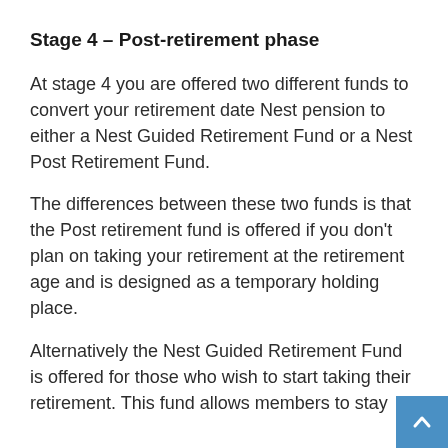Stage 4 – Post-retirement phase
At stage 4 you are offered two different funds to convert your retirement date Nest pension to either a Nest Guided Retirement Fund or a Nest Post Retirement Fund.
The differences between these two funds is that the Post retirement fund is offered if you don't plan on taking your retirement at the retirement age and is designed as a temporary holding place.
Alternatively the Nest Guided Retirement Fund is offered for those who wish to start taking their retirement. This fund allows members to stay